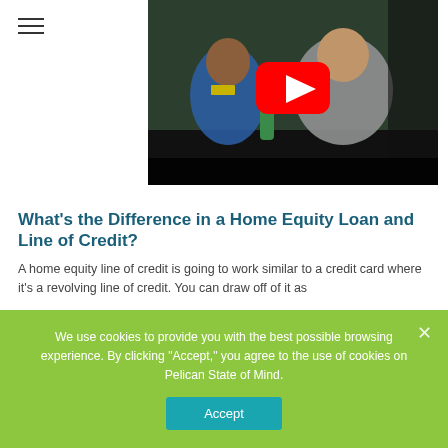[Figure (screenshot): YouTube video thumbnail showing two people seated at a table — a woman in a blue dress with a name tag and a man in a grey shirt — with a red YouTube play button overlay in the upper center.]
What's the Difference in a Home Equity Loan and Line of Credit?
A home equity line of credit is going to work similar to a credit card where it's a revolving line of credit. You can draw off of it as
We use cookies to provide you with the best possible browsing experience. By clicking "Accept," you agree to the use of cookies on Pelican State of Mind.